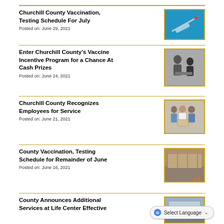Churchill County Vaccination, Testing Schedule For July
Posted on: June 29, 2021
[Figure (photo): A syringe on a blue background]
Enter Churchill County's Vaccine Incentive Program for a Chance At Cash Prizes
Posted on: June 24, 2021
[Figure (photo): Black and white photo of people, possibly vaccination scene]
Churchill County Recognizes Employees for Service
Posted on: June 21, 2021
[Figure (photo): Group of employees posing for a photo]
County Vaccination, Testing Schedule for Remainder of June
Posted on: June 16, 2021
[Figure (photo): Parking lot or outdoor testing site with orange cones]
County Announces Additional Services at Life Center Effective